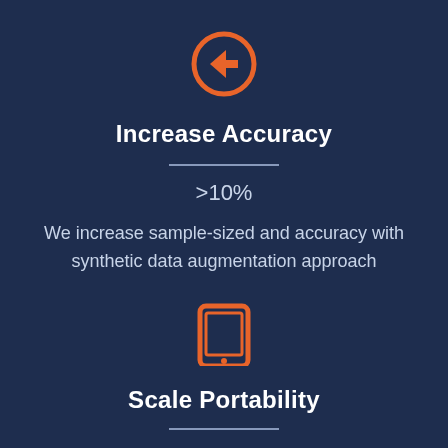[Figure (illustration): Orange circle with left-pointing arrow icon]
Increase Accuracy
>10%
We increase sample-sized and accuracy with synthetic data augmentation approach
[Figure (illustration): Orange tablet/iPad icon]
Scale Portability